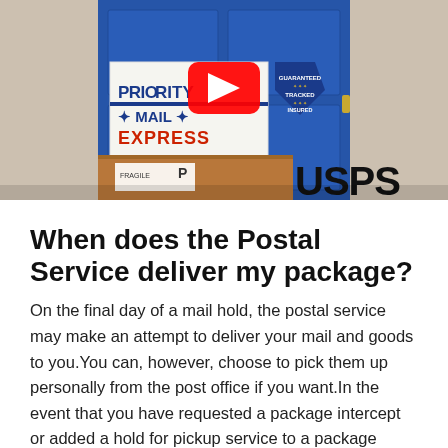[Figure (screenshot): YouTube video thumbnail showing USPS Priority Mail Express packages stacked in front of a blue door, with a red YouTube play button in the center and USPS logo in the bottom right corner.]
When does the Postal Service deliver my package?
On the final day of a mail hold, the postal service may make an attempt to deliver your mail and goods to you.You can, however, choose to pick them up personally from the post office if you want.In the event that you have requested a package intercept or added a hold for pickup service to a package delivery, the postal service will not deliver the parcel. To...